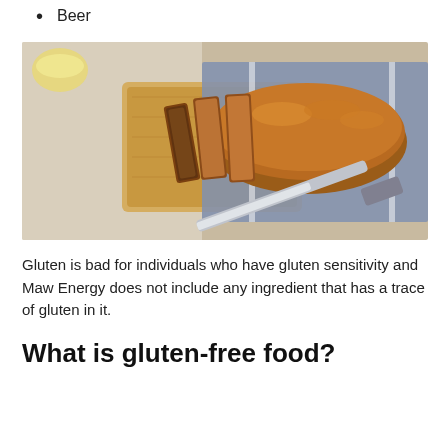Beer
[Figure (photo): A sliced loaf of gluten-free bread on a wooden cutting board, placed on a blue cloth napkin and white lace tablecloth, with a knife beside it and a glass of liquid in the background.]
Gluten is bad for individuals who have gluten sensitivity and Maw Energy does not include any ingredient that has a trace of gluten in it.
What is gluten-free food?